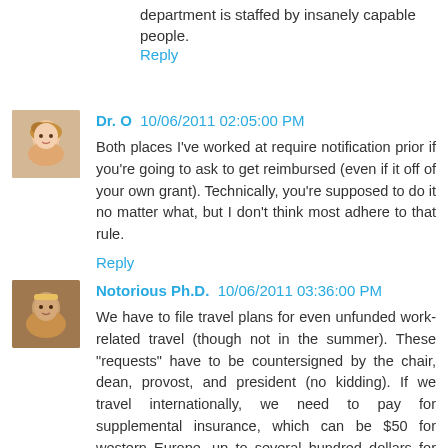department is staffed by insanely capable people.
Reply
Dr. O  10/06/2011 02:05:00 PM
Both places I've worked at require notification prior if you're going to ask to get reimbursed (even if it off of your own grant). Technically, you're supposed to do it no matter what, but I don't think most adhere to that rule.
Reply
Notorious Ph.D.  10/06/2011 03:36:00 PM
We have to file travel plans for even unfunded work-related travel (though not in the summer). These "requests" have to be countersigned by the chair, dean, provost, and president (no kidding). If we travel internationally, we need to pay for supplemental insurance, which can be $50 for western Europe, up to several hundred dollars for other places.